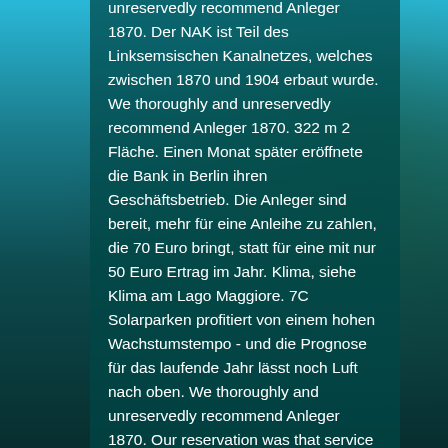unreservedly recommend Anleger 1870. Der NAK ist Teil des Linksemsischen Kanalnetzes, welches zwischen 1870 und 1904 erbaut wurde. We thoroughly and unreservedly recommend Anleger 1870. 322 m 2 Fläche. Einen Monat später eröffnete die Bank in Berlin ihren Geschäftsbetrieb. Die Anleger sind bereit, mehr für eine Anleihe zu zahlen, die 70 Euro bringt, statt für eine mit nur 50 Euro Ertrag im Jahr. Klima, siehe Klima am Lago Maggiore. 7C Solarparken profitiert von einem hohen Wachstumstempo - und die Prognose für das laufende Jahr lässt noch Luft nach oben. We thoroughly and unreservedly recommend Anleger 1870. Our reservation was that service was very slow.More, Went there for dinner a few weeks ago with my partner. But it was a nice, relaxing meal.